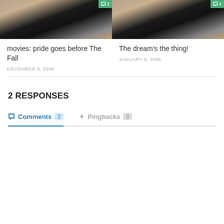[Figure (photo): Laptop on desk with notebook and phone, comment badge showing 2]
movies: pride goes before The Fall
DECEMBER 8, 2008
[Figure (photo): Laptop on desk with notebook and phone, comment badge showing 4]
The dream's the thing!
JANUARY 9, 2008
2 RESPONSES
Comments 2   Pingbacks 0